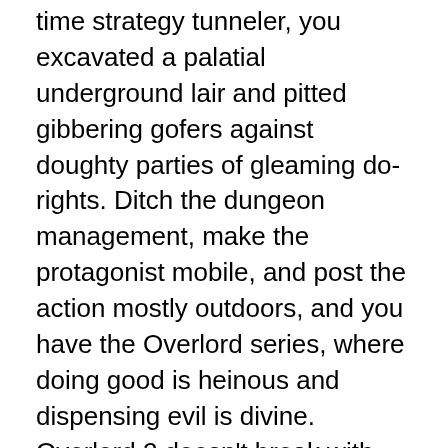Remember Bullfrog's Dungeon Keeper? In that real-time strategy tunneler, you excavated a palatial underground lair and pitted gibbering gofers against doughty parties of gleaming do-rights. Ditch the dungeon management, make the protagonist mobile, and post the action mostly outdoors, and you have the Overlord series, where doing good is heinous and dispensing evil is divine. Overlord 2 doesn't break with that formula so much as grow it. Think more of everything. More enemy types (thieving gnomes, environmental-activist elves), more ability lists (your minions can ride mounts, commandeer war machines, and pilot warships), and more system versions. That's right: Even though they'll be separately plotted games, the series is finally reaching out with Wii and Nintendo DS iterations.